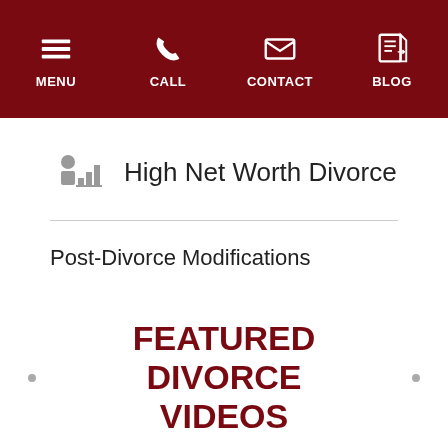MENU  CALL  CONTACT  BLOG
High Net Worth Divorce
Post-Divorce Modifications
FEATURED DIVORCE VIDEOS
[Figure (illustration): Dark red movie camera icon]